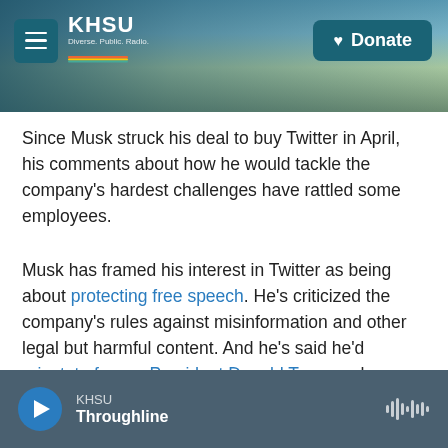KHSU | Donate
Since Musk struck his deal to buy Twitter in April, his comments about how he would tackle the company's hardest challenges have rattled some employees.
Musk has framed his interest in Twitter as being about protecting free speech. He's criticized the company's rules against misinformation and other legal but harmful content. And he's said he'd reinstate former President Donald Trump, whom Twitter banned after the Jan. 6 attack on the U.S. Capitol.
KHSU Throughline